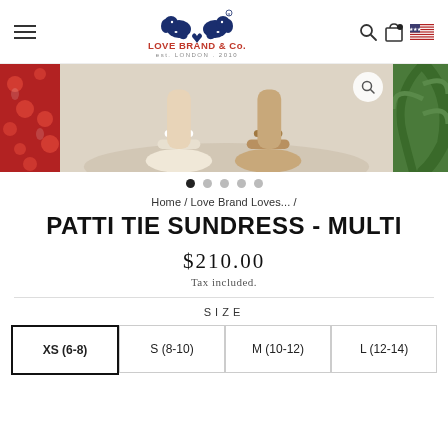[Figure (screenshot): Website header with hamburger menu, Love Brand & Co. logo with two elephants forming a heart, search icon, shopping bag icon, and US flag icon]
[Figure (photo): Image carousel showing sandals on sandy surface, with red/pink patterned fabric on left and green palm leaf on right. Carousel navigation dots (5 dots, first active) below.]
Home / Love Brand Loves... /
PATTI TIE SUNDRESS - MULTI
$210.00
Tax included.
SIZE
XS (6-8)  S (8-10)  M (10-12)  L (12-14)